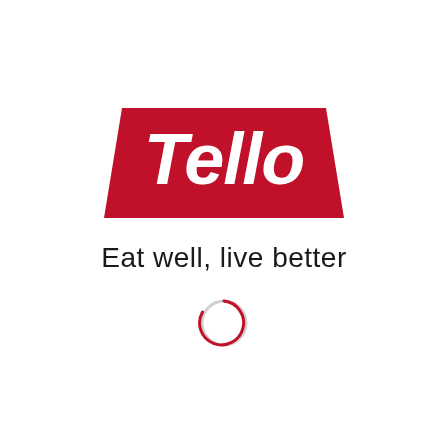[Figure (logo): Tello brand logo: a dark red trapezoidal/banner shape with white bold italic text 'Tello' centered on it, with tagline 'Eat well, live better' below in dark sans-serif, and a loading spinner circle below that]